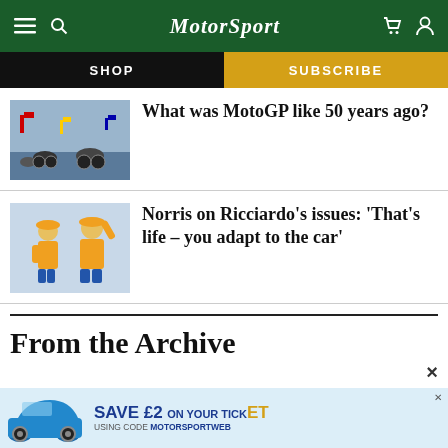MotorSport
SHOP
SUBSCRIBE
What was MotoGP like 50 years ago?
Norris on Ricciardo's issues: 'That's life – you adapt to the car'
From the Archive
SAVE £2 ON YOUR TICKET USING CODE MOTORSPORTWEB